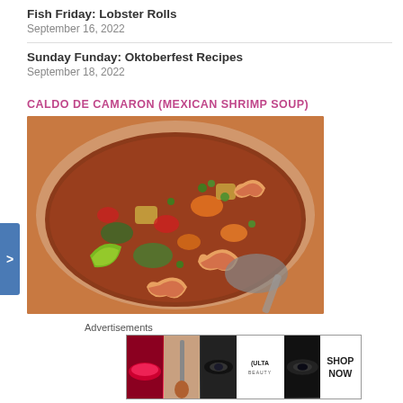Fish Friday: Lobster Rolls
September 16, 2022
Sunday Funday: Oktoberfest Recipes
September 18, 2022
CALDO DE CAMARON (MEXICAN SHRIMP SOUP)
[Figure (photo): Bowl of Mexican shrimp soup (Caldo de Camaron) with shrimp, vegetables, lime wedge, and broth, photographed from above]
Advertisements
[Figure (screenshot): Ulta Beauty advertisement strip showing makeup imagery including red lips, makeup brush, eyes with makeup, Ulta logo, eye close-up, and SHOP NOW text]